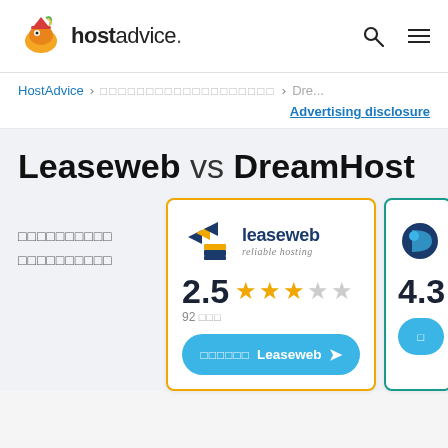hostadvice.
HostAdvice > [garbled] > Dre...
Advertising disclosure
Leaseweb vs DreamHost
[garbled Thai/CJK text - comparison label]
[Figure (logo): Leaseweb logo with 'reliable hosting' tagline, rating 2.5 stars (92 reviews), and a teal CTA button]
[Figure (logo): DreamHost partial card showing 4.3 rating and partial teal CTA button]